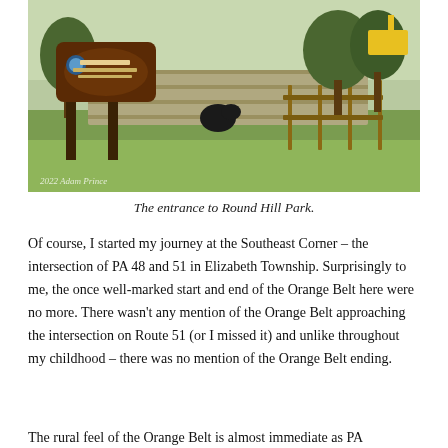[Figure (photo): Entrance to Round Hill Park and Exhibit Farm. A brown wooden sign with white text reading 'Round Hill Park and Exhibit Farm' is visible at the left. Green lawn, trees, and a wooden fence are in the background. A watermark reads '2022 Adam Prince'.]
The entrance to Round Hill Park.
Of course, I started my journey at the Southeast Corner – the intersection of PA 48 and 51 in Elizabeth Township. Surprisingly to me, the once well-marked start and end of the Orange Belt here were no more. There wasn't any mention of the Orange Belt approaching the intersection on Route 51 (or I missed it) and unlike throughout my childhood – there was no mention of the Orange Belt ending.
The rural feel of the Orange Belt is almost immediate as PA